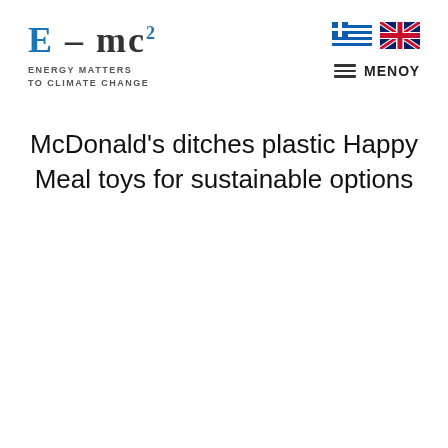[Figure (logo): E=mc2 Energy Matters to Climate Change logo with stylized text in blue and dark colors]
[Figure (other): Greek flag and UK flag icons for language selection]
ΜΕΝOY
McDonald's ditches plastic Happy Meal toys for sustainable options